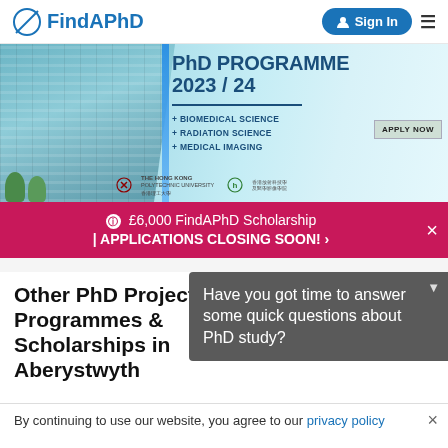FindAPhD | Sign In
[Figure (screenshot): Hong Kong Polytechnic University PhD Programme 2023/24 banner with building photo, advertising Biomedical Science, Radiation Science, and Medical Imaging programmes]
£6,000 FindAPhD Scholarship | APPLICATIONS CLOSING SOON! ›
Other PhD Projects, Programmes & Scholarships in Aberystwyth
Have you got time to answer some quick questions about PhD study?
By continuing to use our website, you agree to our privacy policy